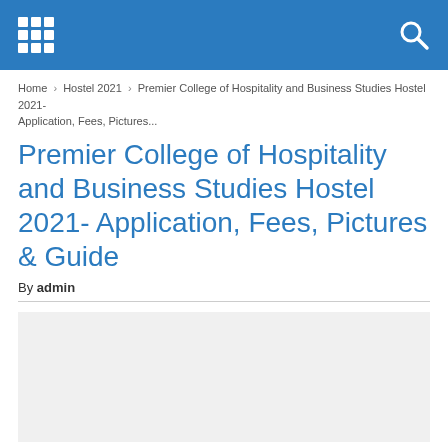Home › Hostel 2021 › Premier College of Hospitality and Business Studies Hostel 2021- Application, Fees, Pictures...
Premier College of Hospitality and Business Studies Hostel 2021- Application, Fees, Pictures & Guide
By admin
[Figure (photo): Image placeholder area]
Here is all you need to know about the Premier